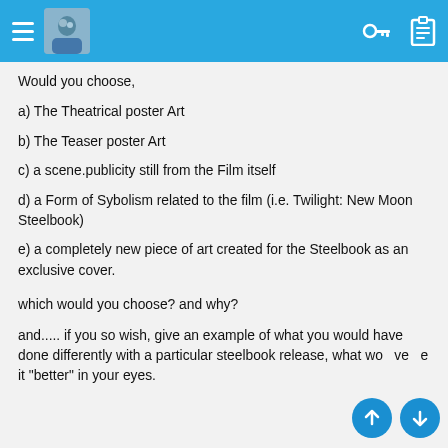App navigation bar with hamburger menu, avatar, key and clipboard icons
Would you choose,
a) The Theatrical poster Art
b) The Teaser poster Art
c) a scene.publicity still from the Film itself
d) a Form of Sybolism related to the film (i.e. Twilight: New Moon Steelbook)
e) a completely new piece of art created for the Steelbook as an exclusive cover.
which would you choose? and why?
and..... if you so wish, give an example of what you would have done differently with a particular steelbook release, what would have made it "better" in your eyes.